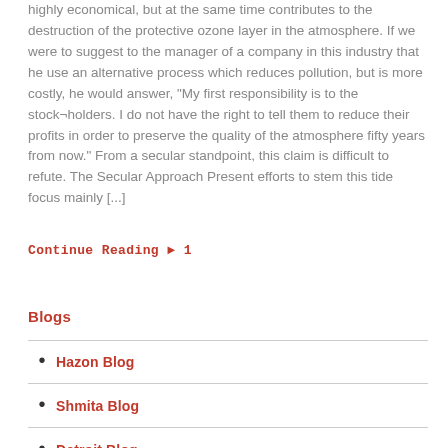highly economical, but at the same time contributes to the destruction of the protective ozone layer in the atmosphere. If we were to suggest to the manager of a company in this industry that he use an alternative process which reduces pollution, but is more costly, he would answer, “My first responsibility is to the stock­holder s. I do not have the right to tell them to reduce their profits in order to preserve the quality of the atmosphere fifty years from now.” From a secular standpoint, this claim is difficult to refute. The Secular Approach Present efforts to stem this tide focus mainly [...]
Continue Reading » 1
Blogs
Hazon Blog
Shmita Blog
Detroit Blog